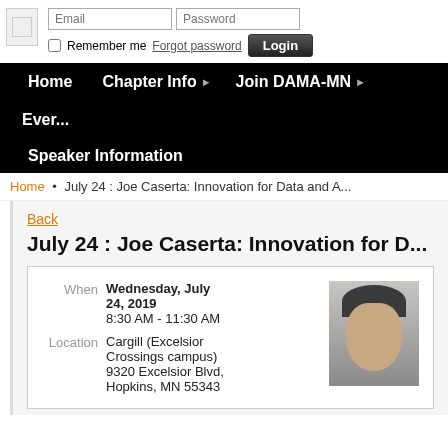[Figure (screenshot): Login form with Email and Password input fields, Remember me checkbox, Forgot password link, and Login button]
Home  Chapter Info  Join DAMA-MN  Events  Speaker Information
Home • July 24 : Joe Caserta: Innovation for Data and A...
Back
July 24 : Joe Caserta: Innovation for D...
| Field | Value |
| --- | --- |
| When | Wednesday, July 24, 2019
8:30 AM - 11:30 AM |
| Location | Cargill (Excelsior Crossings campus) 9320 Excelsior Blvd, Hopkins, MN 55343 |